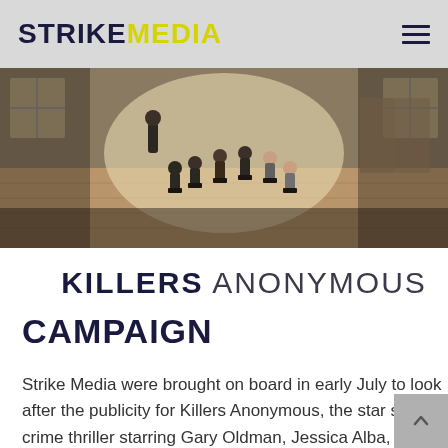STRIKEMEDIA
[Figure (photo): A group of people sitting in chairs arranged in a circle in a large, sunlit warehouse or empty building with wooden floors and tall windows. One person is standing and appears to be speaking to the group. Scene from the film Killers Anonymous.]
KILLERS ANONYMOUS
CAMPAIGN
Strike Media were brought on board in early July to look after the publicity for Killers Anonymous, the star studded crime thriller starring Gary Oldman, Jessica Alba, Suki waterhouse and Tommy Flanagan. Strike managed the Theatrical and Home Entertainment release for the film